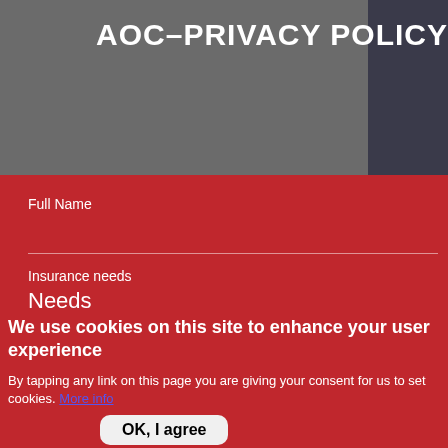AOC-PRIVACY POLICY
Full Name
Insurance needs
Needs
We use cookies on this site to enhance your user experience
By tapping any link on this page you are giving your consent for us to set cookies. More info
OK, I agree